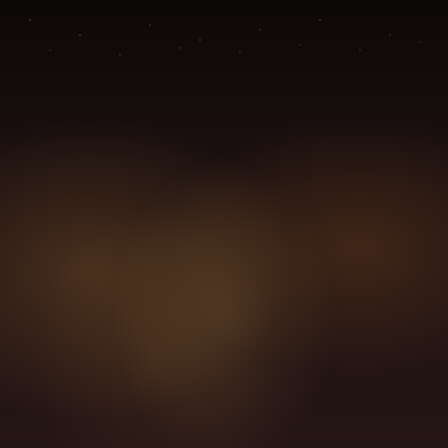[Figure (photo): Aerial night photograph of a city showing dense lights below a dark sky, shown as a horizontal banner strip at the top of the page.]
A movie poster that makes no sense…NONE!  There are no evil claws and there is no giant evil eyeball.
[Figure (screenshot): WordPress advertisement banner: 'Build a writing habit. Post on the go.' with 'GET THE APP' call to action and WordPress logo.]
MY CALL:  I watched this because someone called it one of the great horror movies and that it had more jaw-drops per minute than anything else they had ever seen.  I've learned never again to trust this reviewer…EVER!
From the first minute this movie is clearly anything but normal.  Barbara's daughter Katy Collins is almost eight